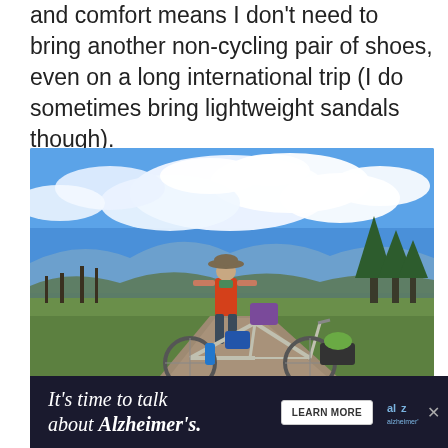and comfort means I don't need to bring another non-cycling pair of shoes, even on a long international trip (I do sometimes bring lightweight sandals though).
[Figure (photo): A cyclist standing next to a heavily loaded touring/bikepacking bicycle on a gravel road with mountains, green meadows, and a blue sky with white clouds in the background. The person is wearing a wide-brim hat, red shirt, and green neck gaiter.]
It's time to talk about Alzheimer's.